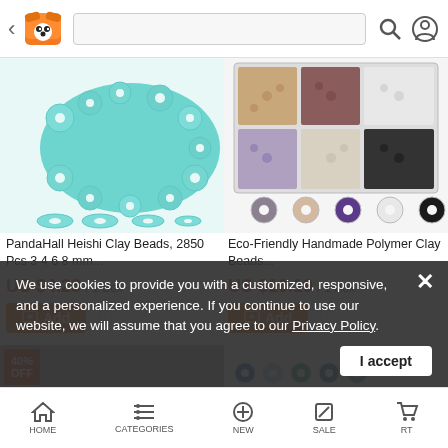PandaHall shopping app header with back arrow, logo, search bar, search icon, and profile icon
[Figure (photo): Teal/mint heishi clay beads scattered in a pile with individual bead samples below]
[Figure (photo): Eco-friendly handmade polymer clay beads organized in a clear box with multiple compartments, with color swatch circles below showing grey, peach, purple, white, and black]
PandaHall Heishi Clay Beads, 2850 Pcs 3 4 6 8 mm...
Eco-Friendly Handmade Polymer Clay Beads...
US $4.23 / 1 Box
US $10.19 / 1 Box
Add
Add
We use cookies to provide you with a customized, responsive, and a personalized experience. If you continue to use our website, we will assume that you agree to our Privacy Policy.
I accept
HOME | CATEGORIES | NEW | SALE | CART